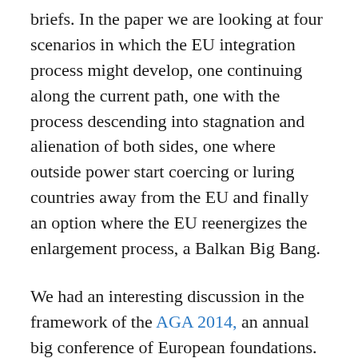briefs. In the paper we are looking at four scenarios in which the EU integration process might develop, one continuing along the current path, one with the process descending into stagnation and alienation of both sides, one where outside power start coercing or luring countries away from the EU and finally an option where the EU reenergizes the enlargement process, a Balkan Big Bang.
We had an interesting discussion in the framework of the AGA 2014, an annual big conference of European foundations. As one would expect, the audience was mostly from West European foundations and while some clearly had a positive view of the need for EU integration to continue or rather be accelerated, I was struck by the skepticism coming from some audience in the Q&A. The countries first have to deal with their problems and then we can talk about joining, the previous enlargements were